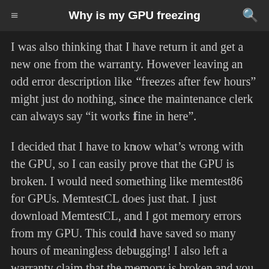Why is my GPU freezing
I was also thinking that I have return it and get a new one from the warranty. However leaving an odd error description like “freezes after few hours” might just do nothing, since the maintenance clerk can always say “it works fine in here”.
I decided that I have to know what’s wrong with the GPU, so I can easily prove that the GPU is broken. I would need something like memtest86 for GPUs. MemtestCL does just that. I just download MemtestCL, and I got memory errors from my GPU. This could have saved so many hours of meaningless debugging! I also left a warranty claim that the memory is broken and you can easily see it by yourself with memtestCL. I got a new GPU the following